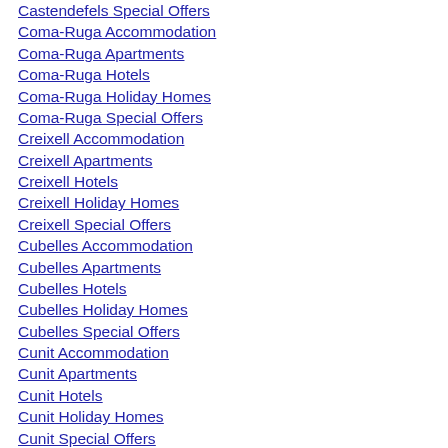Castendefels Special Offers
Coma-Ruga Accommodation
Coma-Ruga Apartments
Coma-Ruga Hotels
Coma-Ruga Holiday Homes
Coma-Ruga Special Offers
Creixell Accommodation
Creixell Apartments
Creixell Hotels
Creixell Holiday Homes
Creixell Special Offers
Cubelles Accommodation
Cubelles Apartments
Cubelles Hotels
Cubelles Holiday Homes
Cubelles Special Offers
Cunit Accommodation
Cunit Apartments
Cunit Hotels
Cunit Holiday Homes
Cunit Special Offers
Delta del Ebro Accommodation
Delta del Ebro Apartments
Delta del Ebro Hotels
Delta del Ebro Holiday Homes
Delta del Ebro Special Offers